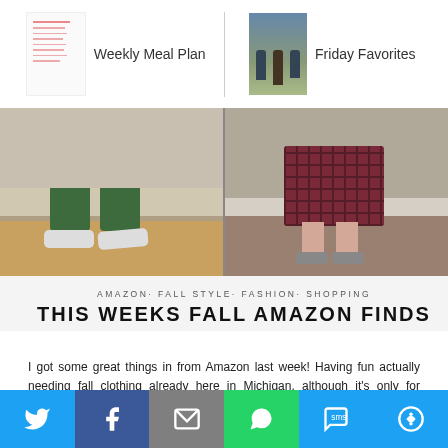Weekly Meal Plan | Friday Favorites
[Figure (photo): Two side-by-side photos showing lower half of people in fall outfits: left shows green jogger pants with white sneakers on wood floor; right shows burgundy plaid skirt with gray flats on carpet.]
AMAZON· FALL STYLE· FASHION· SHOPPING
THIS WEEKS FALL AMAZON FINDS
I got some great things in from Amazon last week! Having fun actually needing fall clothing already here in Michigan, although it's only for moving and evening and it's still shorts weather mid-day! If you're looking for a couple good options for fall family pictures, scroll on! This Weeks Fall Amazon Finds Tie Front Knit Top | Fitted | ...
VIEW the POST